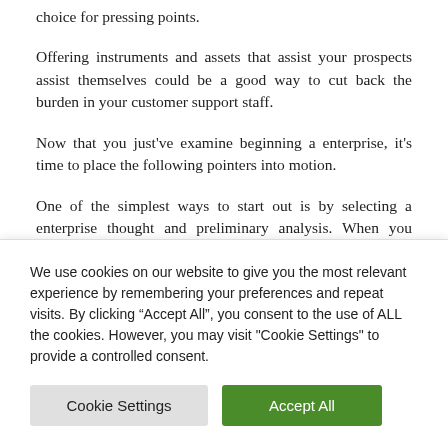choice for pressing points.
Offering instruments and assets that assist your prospects assist themselves could be a good way to cut back the burden in your customer support staff.
Now that you just've examine beginning a enterprise, it's time to place the following pointers into motion.
One of the simplest ways to start out is by selecting a enterprise thought and preliminary analysis. When you perceive what's concerned in launching your
We use cookies on our website to give you the most relevant experience by remembering your preferences and repeat visits. By clicking "Accept All", you consent to the use of ALL the cookies. However, you may visit "Cookie Settings" to provide a controlled consent.